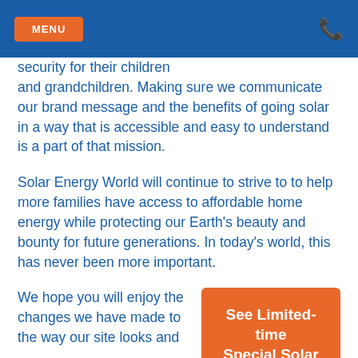MENU
security for their children and grandchildren. Making sure we communicate our brand message and the benefits of going solar in a way that is accessible and easy to understand is a part of that mission.
Solar Energy World will continue to strive to to help more families have access to affordable home energy while protecting our Earth's beauty and bounty for future generations. In today's world, this has never been more important.
We hope you will enjoy the changes we have made to the way our site looks and
See Limited-time Special Solar Offers